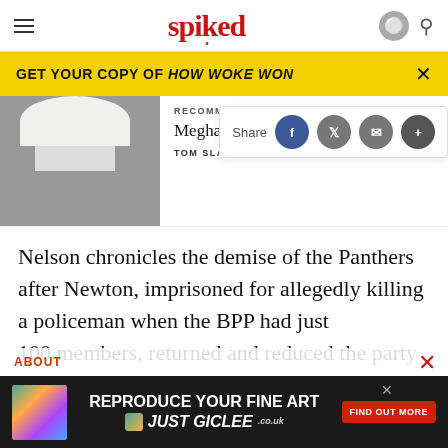spiked
GET YOUR COPY OF HOW WOKE WON
[Figure (photo): Photo of a woman in white outfit and large white hat, smiling]
RECOMMENDED
Meghan's empire of cringe
TOM SLATER
Nelson chronicles the demise of the Panthers after Newton, imprisoned for allegedly killing a policeman when the BPP had just 100 members, returned and reduced the party to little more than a drug-and-prostitution racket. But his take is still rose-tinted. In
ABOUT
[Figure (screenshot): Advertisement: REPRODUCE YOUR FINE ART JUST GICLEE.co.uk FIND OUT MORE]